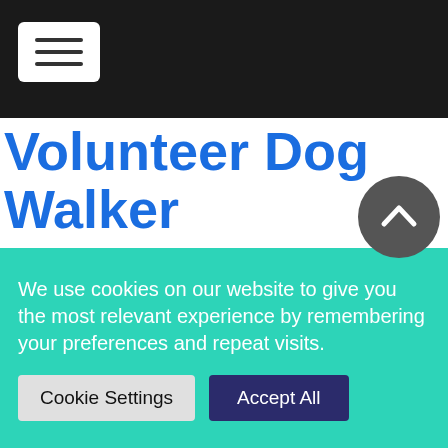[Navigation bar with hamburger menu]
Volunteer Dog Walker Helps Find Shelter Dog, Waiting For Nearly 6 years, A Real Home
6 Replies
Since 2016, a dog named Caesar waited for someone to adopt him from an Ohio animal shelter. To be more precise, the overlooked dog had been at the Animal Charity of O...
We use cookies on our website to give you the most relevant experience by remembering your preferences and repeat visits.